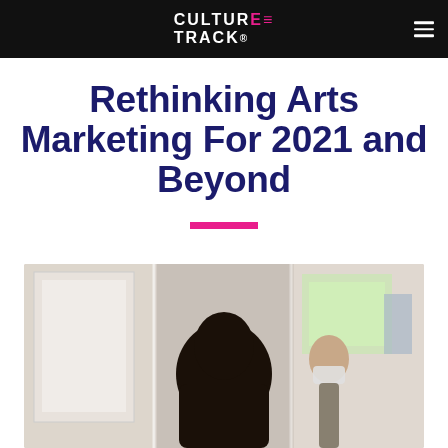CULTURE TRACK®
Rethinking Arts Marketing For 2021 and Beyond
[Figure (photo): People viewing artwork in a gallery/museum setting, one person wearing a face mask]